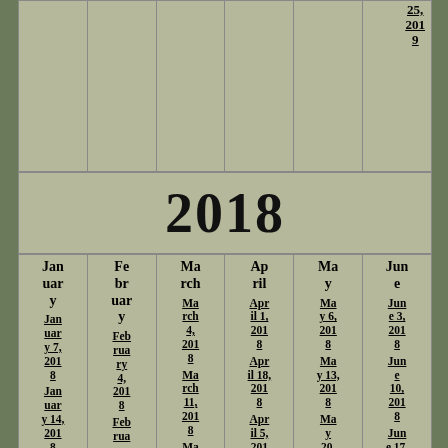25, 2019
2018
| January | February | March | April | May | June |
| --- | --- | --- | --- | --- | --- |
| January | February | March | April | May | June |
| January 7, 2018 | February 4, 2018 | March 4, 2018 | April 1, 2018 | May 6, 2018 | June 3, 2018 |
| January 14, 2018 | February 11, 2018 | March 11, 2018 | April 18, 2018 | May 13, 2018 | June 10, 2018 |
| January... | February... | March 18... | April 15, 2018 | May 20, 2018 | June 17, 201... |